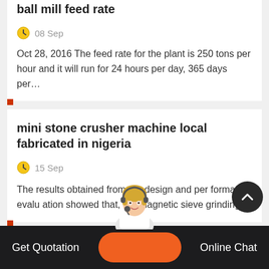ball mill feed rate
08 Sep
Oct 28, 2016 The feed rate for the plant is 250 tons per hour and it will run for 24 hours per day, 365 days per…
mini stone crusher machine local fabricated in nigeria
15 Sep
The results obtained from the design and per formance evalu ation showed that, the magnetic sieve grinding…
Get Quotation   Online Chat